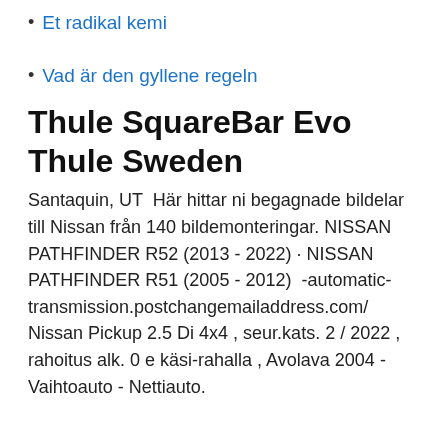Et radikal kemi
Vad är den gyllene regeln
Thule SquareBar Evo Thule Sweden
Santaquin, UT  Här hittar ni begagnade bildelar till Nissan från 140 bildemonteringar. NISSAN PATHFINDER R52 (2013 - 2022) · NISSAN PATHFINDER R51 (2005 - 2012)  -automatic-transmission.postchangemailaddress.com/  Nissan Pickup 2.5 Di 4x4 , seur.kats. 2 / 2022 , rahoitus alk. 0 e käsi-rahalla , Avolava 2004 - Vaihtoauto - Nettiauto.